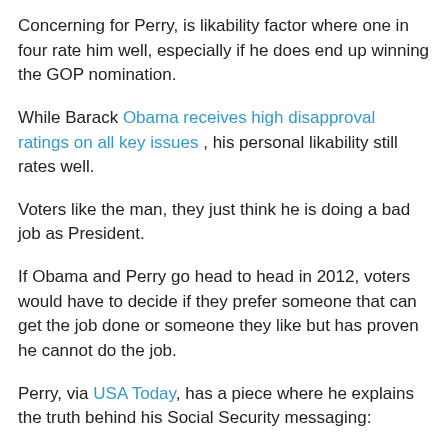Concerning for Perry, is likability factor where one in four rate him well, especially if he does end up winning the GOP nomination.
While Barack Obama receives high disapproval ratings on all key issues , his personal likability still rates well.
Voters like the man, they just think he is doing a bad job as President.
If Obama and Perry go head to head in 2012, voters would have to decide if they prefer someone that can get the job done or someone they like but has proven he cannot do the job.
Perry, via USA Today, has a piece where he explains the truth behind his Social Security messaging:
These are the hard facts: Social Security's